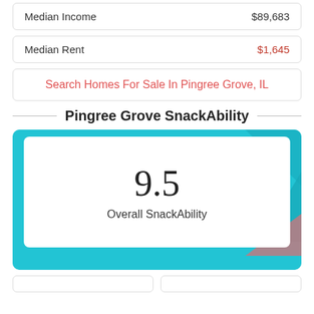|  |  |
| --- | --- |
| Median Income | $89,683 |
| Median Rent | $1,645 |
Search Homes For Sale In Pingree Grove, IL
Pingree Grove SnackAbility
[Figure (infographic): SnackAbility score card showing 9.5 Overall SnackAbility on a teal background with decorative geometric shapes]
9.5 Overall SnackAbility